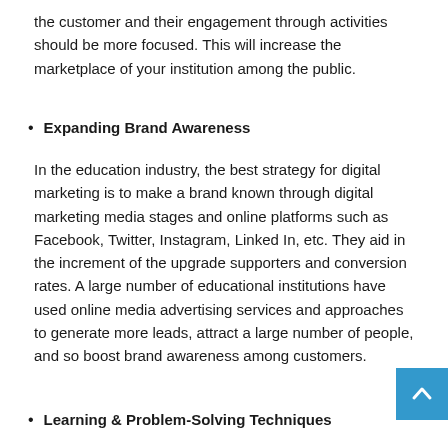the customer and their engagement through activities should be more focused. This will increase the marketplace of your institution among the public.
Expanding Brand Awareness
In the education industry, the best strategy for digital marketing is to make a brand known through digital marketing media stages and online platforms such as Facebook, Twitter, Instagram, Linked In, etc. They aid in the increment of the upgrade supporters and conversion rates. A large number of educational institutions have used online media advertising services and approaches to generate more leads, attract a large number of people, and so boost brand awareness among customers.
Learning & Problem-Solving Techniques